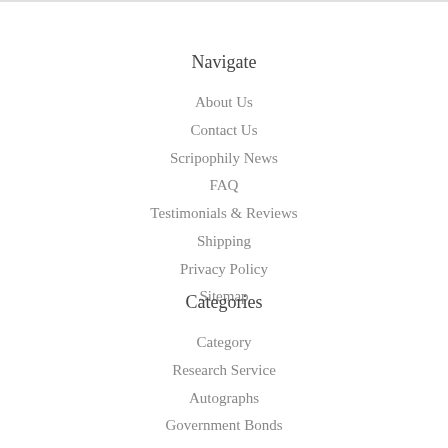Navigate
About Us
Contact Us
Scripophily News
FAQ
Testimonials & Reviews
Shipping
Privacy Policy
Sitemap
Categories
Category
Research Service
Autographs
Government Bonds
International
All Other